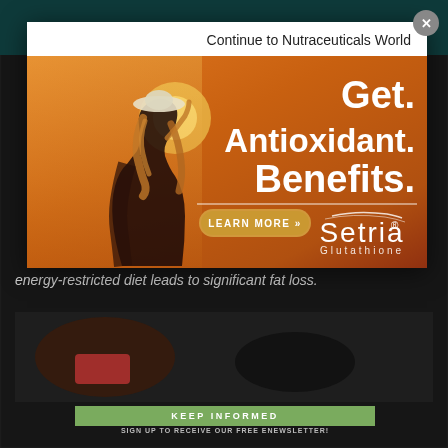Continue to Nutraceuticals World
[Figure (photo): Advertisement for Setria Glutathione showing a woman in a hat at sunset with orange gradient background. Text reads 'Get. Antioxidant. Benefits.' with a 'LEARN MORE >>' button and Setria Glutathione logo.]
energy-restricted diet leads to significant fat loss.
[Figure (photo): Article photo showing supplement containers on a dark background]
KEEP INFORMED
SIGN UP TO RECEIVE OUR FREE ENEWSLETTER!
NUTRACEUTICALS WORLD MAGAZINE